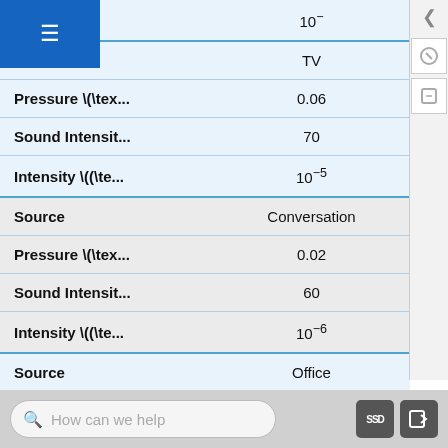|  |  |
| --- | --- |
| Source | TV |
| Pressure \(\tex... | 0.06 |
| Sound Intensit... | 70 |
| Intensity \((\te... | 10^-5 |
| Source | Conversation |
| Pressure \(\tex... | 0.02 |
| Sound Intensit... | 60 |
| Intensity \((\te... | 10^-6 |
| Source | Office |
| Pressure \(\tex... | 0.006 |
How can we help